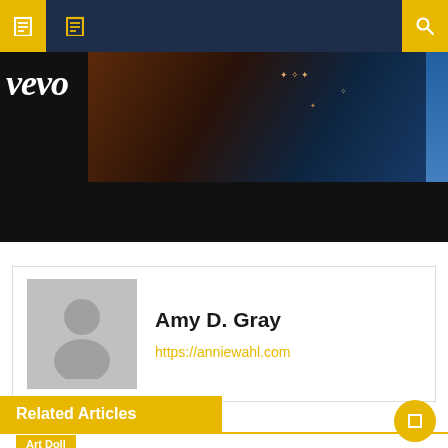Navigation bar with menu icons and search
[Figure (screenshot): Vevo music video banner with dark background and sparkle effects]
Amy D. Gray
https://anniewahl.com
Related Articles
Art Doll
Sex Dolls Market Overview on Future Scenario, 2022 to 2028 Fydoll, Silicone Art, Wmdoll